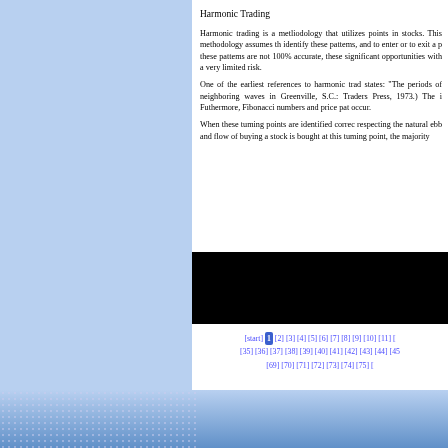Harmonic Trading
Harmonic trading is a metliodology that utilizes points in stocks. This methodology assumes th identify these patterns, and to enter or to exit a p these patterns are not 100% accurate, these significant opportunities with a very limited risk.
One of the earliest references to harmonic trad states: "The periods of neighboring waves in Greenville, S.C.: Traders Press, 1973.) The i Futhermore, Fibonacci numbers and price pat occur.
When these turning points are identified correc respecting the natural ebb and flow of buying a stock is bought at this turning point, the majority
[Figure (other): Black redacted image block]
[start] [1] [2] [3] [4] [5] [6] [7] [8] [9] [10] [11] [ [35] [36] [37] [38] [39] [40] [41] [42] [43] [44] [45 [69] [70] [71] [72] [73] [74] [75] [